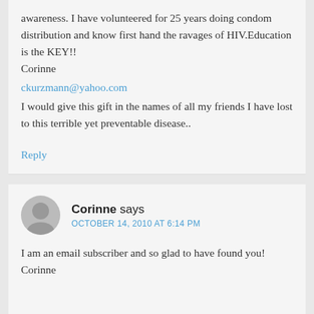awareness. I have volunteered for 25 years doing condom distribution and know first hand the ravages of HIV.Education is the KEY!! Corinne
ckurzmann@yahoo.com
I would give this gift in the names of all my friends I have lost to this terrible yet preventable disease..
Reply
Corinne says
OCTOBER 14, 2010 AT 6:14 PM
I am an email subscriber and so glad to have found you! Corinne